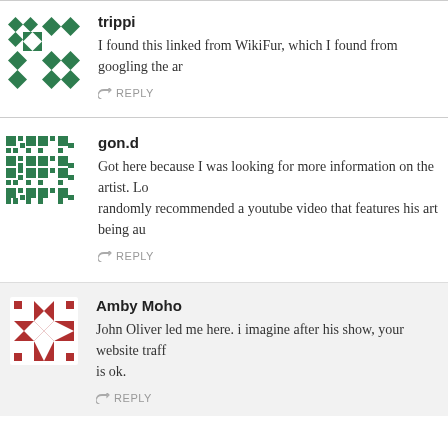trippi
I found this linked from WikiFur, which I found from googling the ar
REPLY
gon.d
Got here because I was looking for more information on the artist. Lo randomly recommended a youtube video that features his art being au
REPLY
Amby Moho
John Oliver led me here. i imagine after his show, your website traff is ok.
REPLY